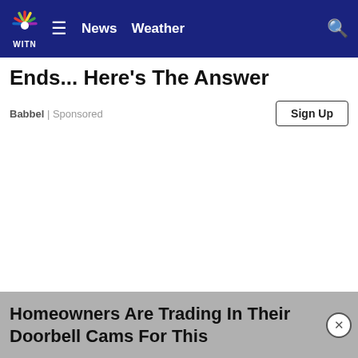WITN — News | Weather
Ends... Here's The Answer
Babbel | Sponsored
Sign Up
Homeowners Are Trading In Their Doorbell Cams For This